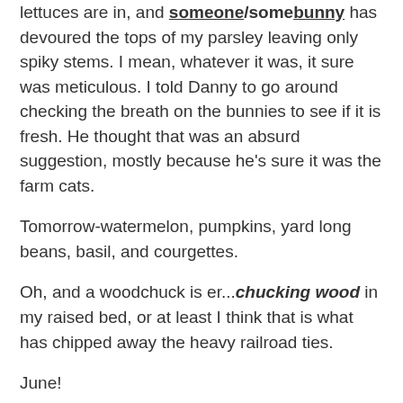lettuces are in, and someone/some bunny has devoured the tops of my parsley leaving only spiky stems. I mean, whatever it was, it sure was meticulous. I told Danny to go around checking the breath on the bunnies to see if it is fresh. He thought that was an absurd suggestion, mostly because he's sure it was the farm cats.
Tomorrow-watermelon, pumpkins, yard long beans, basil, and courgettes.
Oh, and a woodchuck is er...chucking wood in my raised bed, or at least I think that is what has chipped away the heavy railroad ties.
June!
Goody at 2:53 PM    No comments:
Track Your Kid-Just Like a Dog
THIS